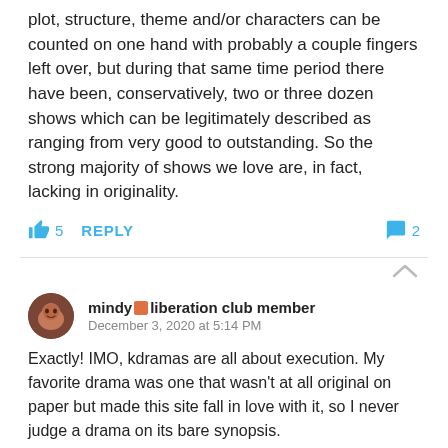plot, structure, theme and/or characters can be counted on one hand with probably a couple fingers left over, but during that same time period there have been, conservatively, two or three dozen shows which can be legitimately described as ranging from very good to outstanding. So the strong majority of shows we love are, in fact, lacking in originality.
👍 5  REPLY   💬 2
mindy 🟧 liberation club member
December 3, 2020 at 5:14 PM
Exactly! IMO, kdramas are all about execution. My favorite drama was one that wasn't at all original on paper but made this site fall in love with it, so I never judge a drama on its bare synopsis.
👍 3  REPLY   💬 1